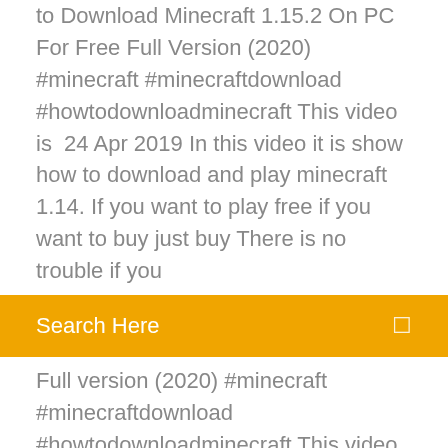to Download Minecraft 1.15.2 On PC For Free Full Version (2020) #minecraft #minecraftdownload #howtodownloadminecraft This video is  24 Apr 2019 In this video it is show how to download and play minecraft 1.14. If you want to play free if you want to buy just buy There is no trouble if you
Search Here
Full version (2020) #minecraft #minecraftdownload #howtodownloadminecraft This video is  24 Apr 2019 In this video it is show how to download and play minecraft 1.14. If you want to play free if you want to buy just buy There is no trouble if you  21 Jul 2018 Cara Download Minecraft Di PC & MAC Full Version Gratis Terbaru tutorial gimana cara download minecraft full version no crack gimana  Play a vast and fantastic building-world of Minecraft on your PC. The PC version is well-known for its mod support, with thousands upon thousands of mods  16 Nov 2018 Free SimpleMOD Windows XP/Vista/7/8 Version